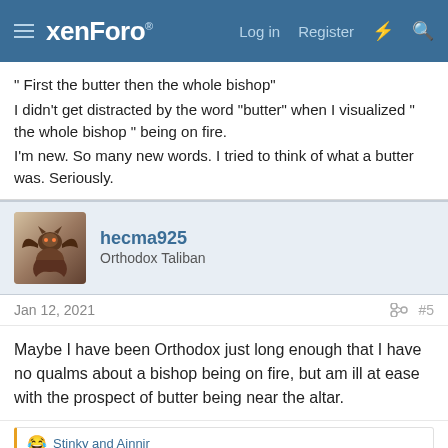xenForo — Log in  Register
" First the butter then the whole bishop"
I didn't get distracted by the word "butter" when I visualized " the whole bishop " being on fire.
I'm new. So many new words. I tried to think of what a butter was. Seriously.
hecma925
Orthodox Taliban
Jan 12, 2021  #5
Maybe I have been Orthodox just long enough that I have no qualms about a bishop being on fire, but am ill at ease with the prospect of butter being near the altar.
Stinky and Ainnir
Ainnir